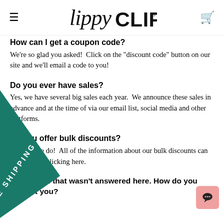LippyCLIP
How can I get a coupon code?
We're so glad you asked!  Click on the "discount code" button on our site and we'll email a code to you!
Do you ever have sales?
Yes, we have several big sales each year.  We announce these sales in advance and at the time of via our email list, social media and other platforms.
Do you offer bulk discounts?
Yes, yes we do!  All of the information about our bulk discounts can be found by clicking here.
◄ question that wasn't answered here. How  ct you?